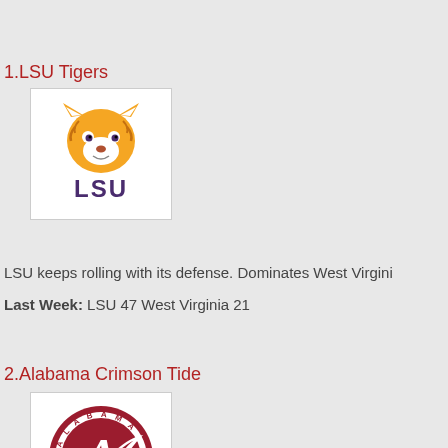1.LSU Tigers
[Figure (logo): LSU Tigers logo with tiger head graphic and 'LSU' text in purple]
LSU keeps rolling with its defense. Dominates West Virgini
Last Week:  LSU 47 West Virginia 21
2.Alabama Crimson Tide
[Figure (logo): Alabama Crimson Tide circular logo with script A]